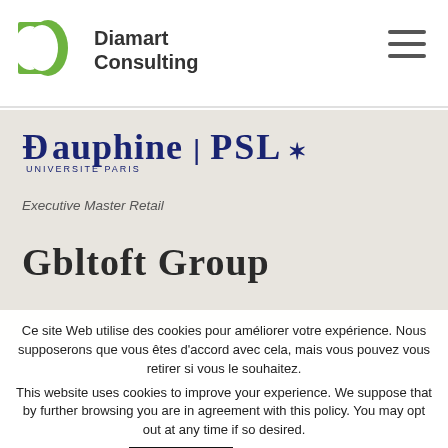[Figure (logo): Diamart Consulting logo: green D shape with crescent, followed by company name text 'Diamart Consulting']
[Figure (logo): Hamburger/menu icon (three horizontal lines) in top right corner]
[Figure (logo): Dauphine | PSL - Université Paris logo with star]
Executive Master Retail
Gbltoft Group
Ce site Web utilise des cookies pour améliorer votre expérience. Nous supposerons que vous êtes d'accord avec cela, mais vous pouvez vous retirer si vous le souhaitez.
This website uses cookies to improve your experience. We suppose that by further browsing you are in agreement with this policy. You may opt out at any time if so desired.
Accepter
Read More